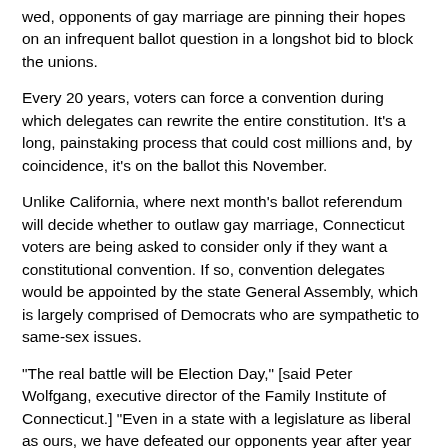wed, opponents of gay marriage are pinning their hopes on an infrequent ballot question in a longshot bid to block the unions.
Every 20 years, voters can force a convention during which delegates can rewrite the entire constitution. It's a long, painstaking process that could cost millions and, by coincidence, it's on the ballot this November.
Unlike California, where next month's ballot referendum will decide whether to outlaw gay marriage, Connecticut voters are being asked to consider only if they want a constitutional convention. If so, convention delegates would be appointed by the state General Assembly, which is largely comprised of Democrats who are sympathetic to same-sex issues.
"The real battle will be Election Day," [said Peter Wolfgang, executive director of the Family Institute of Connecticut.] "Even in a state with a legislature as liberal as ours, we have defeated our opponents year after year through the legislative process. They could never have gotten same-sex marriage through the Democratic process. Democracy is gay